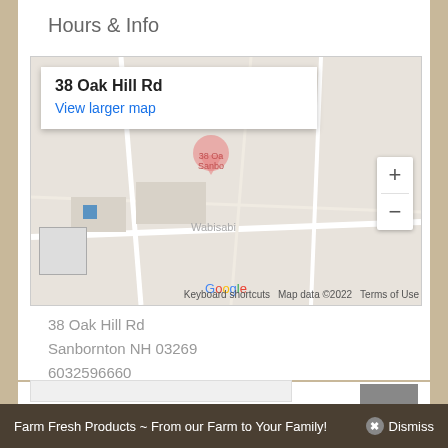Hours & Info
[Figure (map): Google Maps embed showing location at 38 Oak Hill Rd, Sanbornton NH. Map popup shows address and 'View larger map' link. Google branding visible with 'Keyboard shortcuts', 'Map data ©2022', 'Terms of Use' footer. Zoom in/out controls on right.]
38 Oak Hill Rd
Sanbornton NH 03269
6032596660
Farm Fresh Products ~ From our Farm to Your Family!  ✖ Dismiss